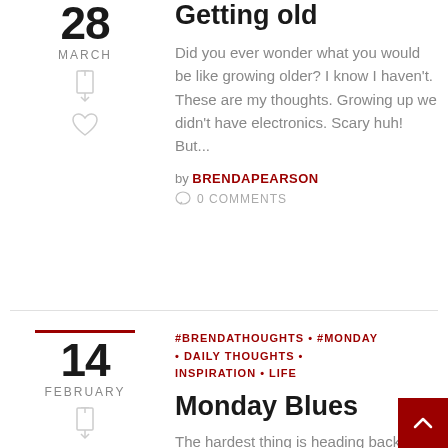28 MARCH
Getting old
Did you ever wonder what you would be like growing older? I know I haven't. These are my thoughts. Growing up we didn't have electronics. Scary huh! But...
by BRENDAPEARSON  0 COMMENTS
14 FEBRUARY
#BRENDATHOUGHTS • #MONDAY • DAILY THOUGHTS • INSPIRATION • LIFE
Monday Blues
The hardest thing is heading back to work after weeks